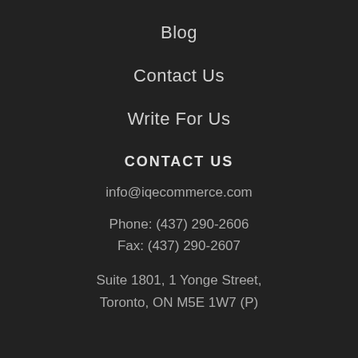Blog
Contact Us
Write For Us
CONTACT US
info@iqecommerce.com
Phone: (437) 290-2606
Fax: (437) 290-2607
Suite 1801, 1 Yonge Street, Toronto, ON M5E 1W7 (P)